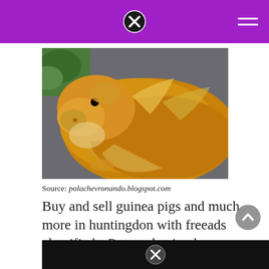Navigation header with close button and hamburger menu
[Figure (photo): Close-up photo of a long-haired golden/orange guinea pig sitting on a dark surface, with green foliage visible in the background]
Source: polachevronando.blogspot.com
Buy and sell guinea pigs and much more in huntingdon with freeads classifieds. Pets and animals knoxville 5 $.
[Figure (photo): Partial view of another photo at the bottom of the page showing a dark background with a close button overlay]